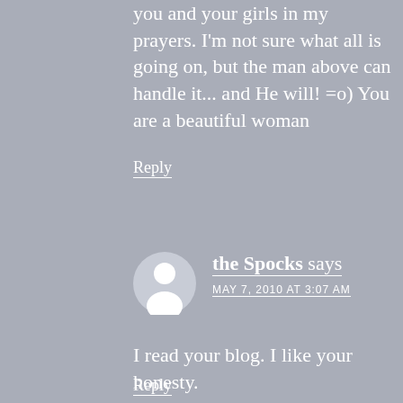you and your girls in my prayers. I'm not sure what all is going on, but the man above can handle it... and He will! =o) You are a beautiful woman
Reply
the Spocks says
MAY 7, 2010 AT 3:07 AM
I read your blog. I like your honesty.
Reply